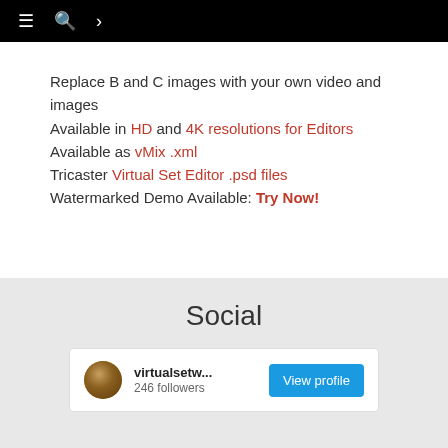≡ 🔍 >
Replace B and C images with your own video and images
Available in HD and 4K resolutions for Editors
Available as vMix .xml
Tricaster Virtual Set Editor .psd files
Watermarked Demo Available: Try Now!
Social
[Figure (screenshot): Social profile card for virtualsetw... with 246 followers and a View profile button, plus a preview of an Instagram post showing a room with wooden striped ceiling.]